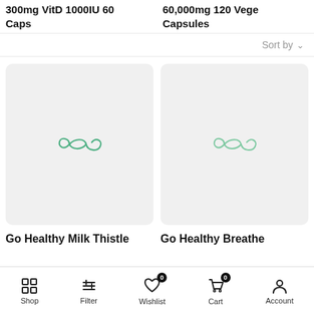300mg VitD 1000IU 60 Caps
60,000mg 120 Vege Capsules
Sort by
[Figure (logo): Go Healthy infinity loop logo mark in green, on light grey product card background]
[Figure (logo): Go Healthy infinity loop logo mark in green outline, on light grey product card background]
Go Healthy Milk Thistle
Go Healthy Breathe
Shop  Filter  Wishlist 0  Cart 0  Account